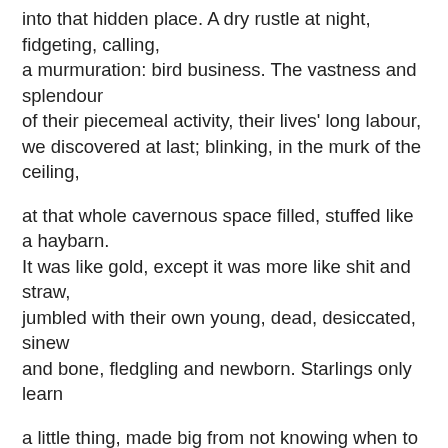into that hidden place. A dry rustle at night, fidgeting, calling, a murmuration: bird business. The vastness and splendour of their piecemeal activity, their lives' long labour, we discovered at last; blinking, in the murk of the ceiling,
at that whole cavernous space filled, stuffed like a haybarn. It was like gold, except it was more like shit and straw, jumbled with their own young, dead, desiccated, sinew and bone, fledgling and newborn. Starlings only learn
a little thing, made big from not knowing when to leave off: gone past all need except need, enough never enough.
This is a favourite poem of mine by Palmerston North poet, Tim Upperton, who is also at the Tuesday Poem hub this week. It is from his collection A House on Fire. I love the craftedness of it, the sounds of birds and people - soft and maddening at once - evoked with words like 'thrummed' 'chimneys' 'dimmed' and the blissful 'murmuration', the secrets in rooms and eaves and hearts, the gold and the murk, the unwinding emotional centre. Fabulously fairytale